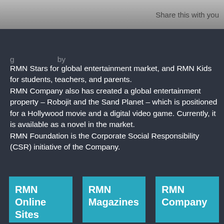Share this with you
RMN Stars for global entertainment market, and RMN Kids for students, teachers, and parents.
RMN Company also has created a global entertainment property – Robojit and the Sand Planet – which is positioned for a Hollywood movie and a digital video game. Currently, it is available as a novel in the market.
RMN Foundation is the Corporate Social Responsibility (CSR) initiative of the Company.
RMN Online Sites
RMN Magazines
RMN Company
RMN Global News Site
RMN Digital
RMN Kids
Robojit and the Sand Planet
The Outbreak
The Integrity Bulletin
Clean Climate
Legal Directions
FACT
Raman Media Network (RMN) Company is a leading integrated technology media company